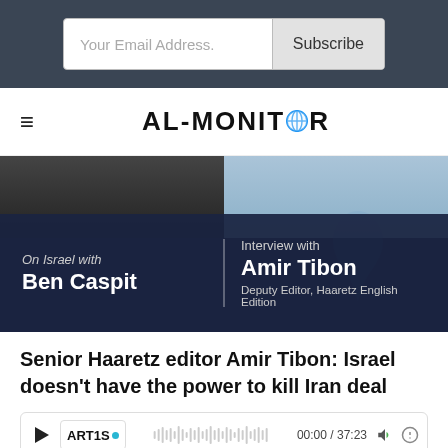Your Email Address. Subscribe
AL-MONITOR
[Figure (photo): Podcast thumbnail showing two men photos at top with dark blue overlay below. Left side: 'On Israel with Ben Caspit'. Right side: 'Interview with Amir Tibon, Deputy Editor, Haaretz English Edition'.]
Senior Haaretz editor Amir Tibon: Israel doesn't have the power to kill Iran deal
[Figure (other): Audio player bar with play button, Artis logo, waveform, time display 00:00 / 37:23, volume and speed controls]